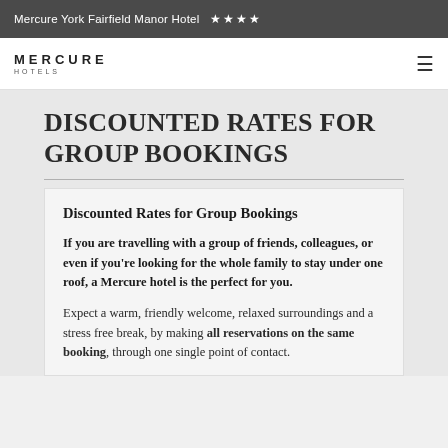Mercure York Fairfield Manor Hotel ★★★★
[Figure (logo): Mercure Hotels logo with hamburger menu icon]
DISCOUNTED RATES FOR GROUP BOOKINGS
Discounted Rates for Group Bookings
If you are travelling with a group of friends, colleagues, or even if you're looking for the whole family to stay under one roof, a Mercure hotel is the perfect for you.
Expect a warm, friendly welcome, relaxed surroundings and a stress free break, by making all reservations on the same booking, through one single point of contact.